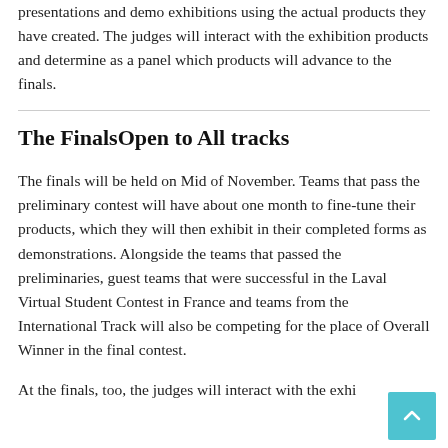presentations and demo exhibitions using the actual products they have created. The judges will interact with the exhibition products and determine as a panel which products will advance to the finals.
The Finals—Open to All tracks—
The finals will be held on Mid of November. Teams that pass the preliminary contest will have about one month to fine-tune their products, which they will then exhibit in their completed forms as demonstrations. Alongside the teams that passed the preliminaries, guest teams that were successful in the Laval Virtual Student Contest in France and teams from the International Track will also be competing for the place of Overall Winner in the final contest.
At the finals, too, the judges will interact with the exhi